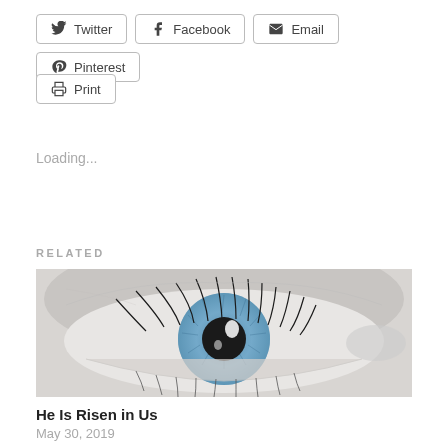[Figure (other): Social share buttons: Twitter, Facebook, Email, Pinterest, Print]
Loading...
RELATED
[Figure (photo): Close-up black and white photograph of a human eye with a blue iris, showing detailed eyelashes and skin texture.]
He Is Risen in Us
May 30, 2019